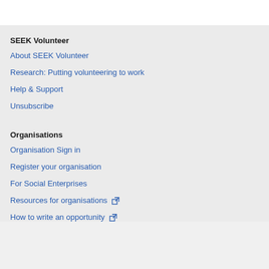SEEK Volunteer
About SEEK Volunteer
Research: Putting volunteering to work
Help & Support
Unsubscribe
Organisations
Organisation Sign in
Register your organisation
For Social Enterprises
Resources for organisations
How to write an opportunity